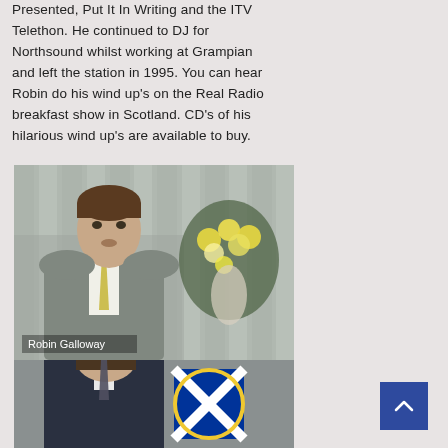Presented, Put It In Writing and the ITV Telethon. He continued to DJ for Northsound whilst working at Grampian and left the station in 1995. You can hear Robin do his wind up's on the Real Radio breakfast show in Scotland. CD's of his hilarious wind up's are available to buy.
[Figure (photo): Photo of Robin Galloway, a young man in a grey suit with yellow tie, seated in front of curtains and yellow flowers, with 'Robin Galloway' text caption at bottom left]
[Figure (photo): Partial photo of a young man in a dark suit, with a Scottish saltire flag badge visible to his right, against a lighter background]